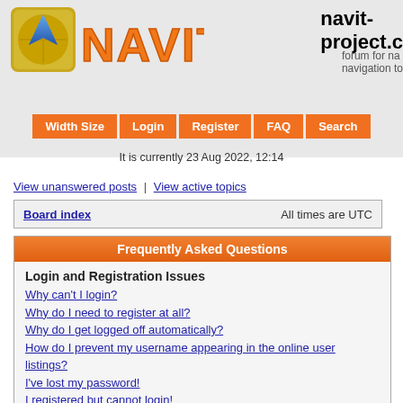[Figure (logo): NAVIT logo with blue arrow icon and orange stylized NAVIT text]
navit-project.c
forum for na navigation to
Width Size | Login | Register | FAQ | Search
It is currently 23 Aug 2022, 12:14
View unanswered posts | View active topics
| Board index | All times are UTC |
| --- | --- |
Frequently Asked Questions
Login and Registration Issues
Why can't I login?
Why do I need to register at all?
Why do I get logged off automatically?
How do I prevent my username appearing in the online user listings?
I've lost my password!
I registered but cannot login!
I registered in the past but cannot login any more?!
What is COPPA?
Why can't I register?
What does the “Delete all board cookies” do?
User Preferences and settings
How do I change my settings?